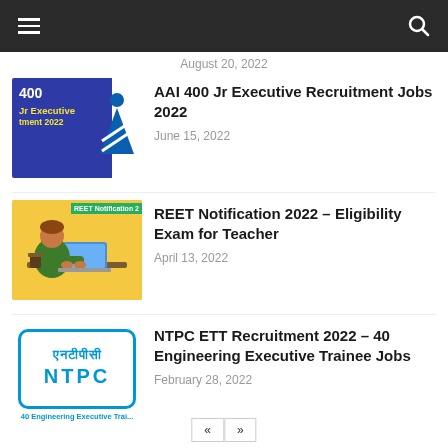Navigation bar with hamburger menu and search icon
August 20, 2022
[Figure (illustration): AAI 400 Jr Executive Recruitment 2022 thumbnail with blue background and AAI logo]
AAI 400 Jr Executive Recruitment Jobs 2022
June 15, 2022
[Figure (illustration): REET Notification 2022 thumbnail with yellow background showing student at laptop]
REET Notification 2022 – Eligibility Exam for Teacher
April 13, 2022
[Figure (logo): NTPC logo with Hindi text and English NTPC text in blue border box, caption: 40 Engineering Executive Trai...]
NTPC ETT Recruitment 2022 – 40 Engineering Executive Trainee Jobs
February 28, 2022